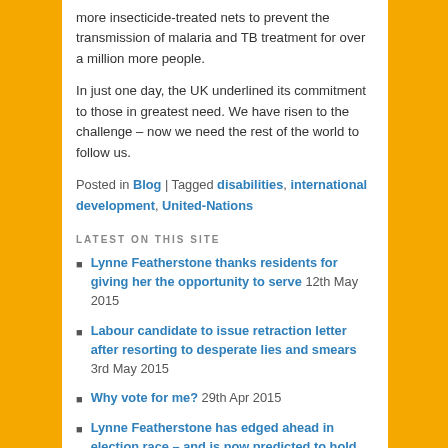more insecticide-treated nets to prevent the transmission of malaria and TB treatment for over a million more people.
In just one day, the UK underlined its commitment to those in greatest need. We have risen to the challenge – now we need the rest of the world to follow us.
Posted in Blog | Tagged disabilities, international development, United-Nations
LATEST ON THIS SITE
Lynne Featherstone thanks residents for giving her the opportunity to serve 12th May 2015
Labour candidate to issue retraction letter after resorting to desperate lies and smears 3rd May 2015
Why vote for me? 29th Apr 2015
Lynne Featherstone has edged ahead in election race – and is now predicted to hold Hornsey and Wood Green 29th Apr 2015